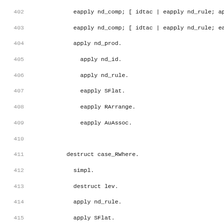402   eapply nd_comp; [ idtac | eapply nd_rule; apply
403   eapply nd_comp; [ idtac | eapply nd_rule; eappl
404   apply nd_prod.
405     apply nd_id.
406     apply nd_rule.
407     eapply SFlat.
408     eapply RArrange.
409     eapply AuAssoc.
410
411   destruct case_RWhere.
412     simpl.
413     destruct lev.
414     apply nd_rule.
415     apply SFlat.
416     apply RWhere.
417     set (check_hof σ₁) as hof_tx.
418     destruct hof_tx; [ apply (Prelude_error "attemp
419     destruct a.
420     rewrite H.
421     rewrite H0.
422
423     eapply nd_comp.
424     eapply nd_prod; [ apply nd_id | eapply nd_rule;
425     eapply nd_comp; [ idtac | eapply nd_rule; eappl
426     eapply nd_comp; [ idtac | eapply nd_rule; eappl
427     eapply nd_comp; [ idtac | eapply nd_rule; eappl
428     apply nd_prod; [ idtac | eapply nd_id ].
429     eapply nd_rule; apply SFlat; eapply RArrange.
430     eapply AComp.
431     eapply AuAssoc.
432     apply ALeft.
433     eapply AuAssoc.